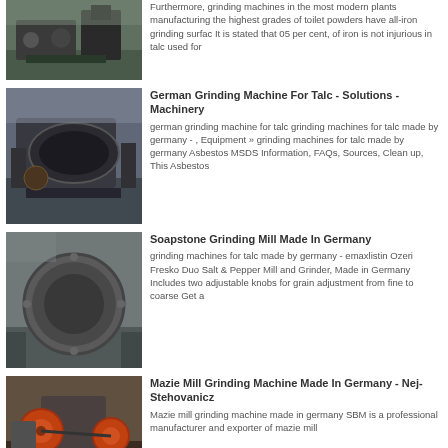[Figure (photo): Industrial grinding machine photographed outdoors at a plant facility]
Furthermore, grinding machines in the most modern plants manufacturing the highest grades of toilet powders have all-iron grinding surfac It is stated that 05 per cent, of iron is not injurious in talc used for
[Figure (photo): Industrial ball mill or grinding machine in a factory interior]
German Grinding Machine For Talc - Solutions - Machinery
german grinding machine for talc grinding machines for talc made by germany - , Equipment » grinding machines for talc made by germany Asbestos MSDS Information, FAQs, Sources, Clean up, This Asbestos
[Figure (photo): Large industrial ball mill or soapstone grinding mill in a warehouse]
Soapstone Grinding Mill Made In Germany
grinding machines for talc made by germany - emaxlistin Ozeri Fresko Duo Salt & Pepper Mill and Grinder, Made in Germany Includes two adjustable knobs for grain adjustment from fine to coarse Get a
[Figure (photo): Mazie mill grinding machine with orange and grey components]
Mazie Mill Grinding Machine Made In Germany - Nej-Stehovanicz
Mazie mill grinding machine made in germany SBM is a professional manufacturer and exporter of mazie mill